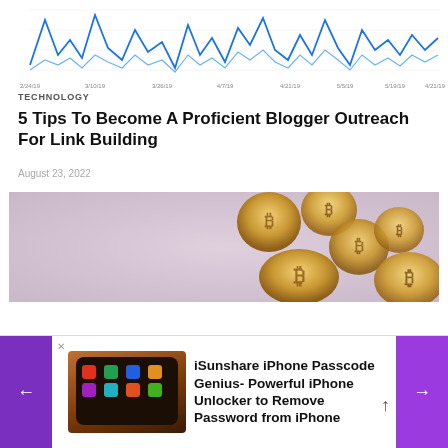[Figure (continuous-plot): Partial screenshot of a line chart showing web analytics data with blue jagged lines over time. X-axis shows dates from 2/24/19 to 4/21/19. Multiple overlapping blue lines of varying intensity.]
TECHNOLOGY
5 Tips To Become A Proficient Blogger Outreach For Link Building
August 23, 2022
[Figure (photo): Photo of gold Bitcoin coins scattered on a pink/mauve background, viewed from above. Multiple coins with Bitcoin symbol visible.]
[Figure (photo): Advertisement banner showing an iPhone on a wooden surface with a dark background alongside text about iSunshare iPhone Passcode Genius.]
iSunshare iPhone Passcode Genius- Powerful iPhone Unlocker to Remove Password from iPhone